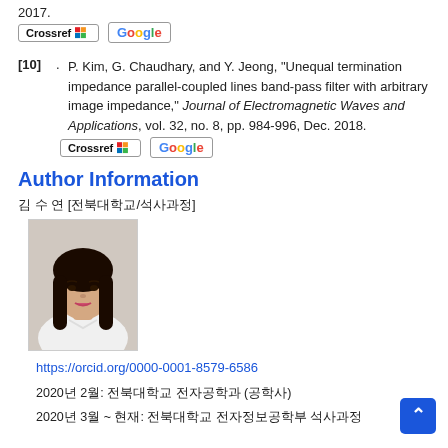2017.
[Figure (other): Crossref and Google Scholar citation link buttons]
[10] . P. Kim, G. Chaudhary, and Y. Jeong, "Unequal termination impedance parallel-coupled lines band-pass filter with arbitrary image impedance," Journal of Electromagnetic Waves and Applications, vol. 32, no. 8, pp. 984-996, Dec. 2018.
[Figure (other): Crossref and Google Scholar citation link buttons]
Author Information
김 수 연 [전북대학교/석사과정]
[Figure (photo): Author headshot photo of Kim Su-yeon]
https://orcid.org/0000-0001-8579-6586
2020년 2월: 전북대학교 전자공학과 (공학사)
2020년 3월 ~ 현재: 전북대학교 전자정보공학부 석사과정